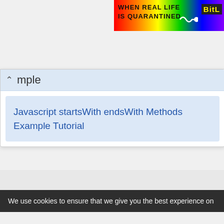[Figure (screenshot): Colorful banner with rainbow gradient background, bold text 'WHEN REAL LIFE IS QUARANTINED' and 'BitL' logo on right side with squiggle decoration]
mple
Javascript startsWith endsWith Methods Example Tutorial
We use cookies to ensure that we give you the best experience on